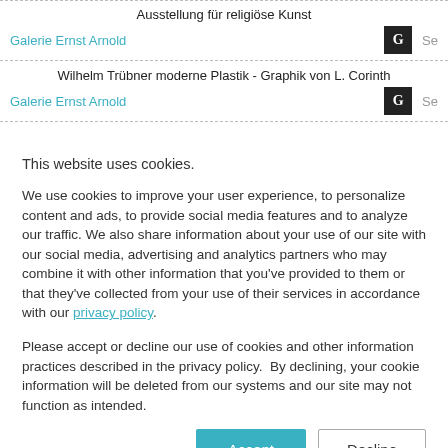Ausstellung für religiöse Kunst
Galerie Ernst Arnold
Wilhelm Trübner moderne Plastik - Graphik von L. Corinth
Galerie Ernst Arnold
This website uses cookies.
We use cookies to improve your user experience, to personalize content and ads, to provide social media features and to analyze our traffic. We also share information about your use of our site with our social media, advertising and analytics partners who may combine it with other information that you've provided to them or that they've collected from your use of their services in accordance with our privacy policy.
Please accept or decline our use of cookies and other information practices described in the privacy policy.  By declining, your cookie information will be deleted from our systems and our site may not function as intended.